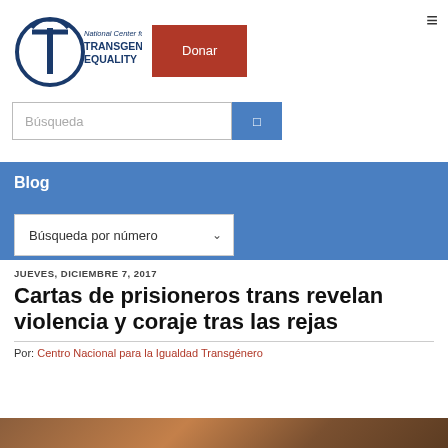[Figure (logo): National Center for Transgender Equality logo with circular T icon and organization name]
Donar
Búsqueda
Blog
Búsqueda por número
JUEVES, DICIEMBRE 7, 2017
Cartas de prisioneros trans revelan violencia y coraje tras las rejas
Por: Centro Nacional para la Igualdad Transgénero
[Figure (photo): Bottom partial photo strip in warm brown tones]